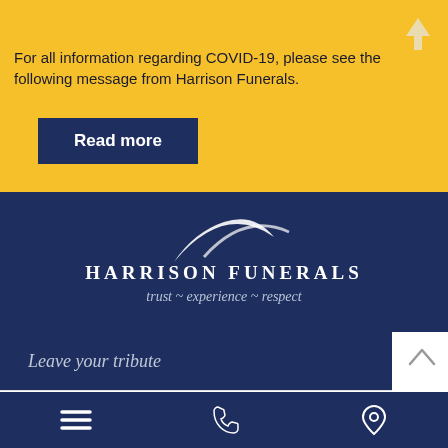COVID-19 Update
For all information regarding COVID-19, please see the following message from Harrison Funerals.
Read more
[Figure (logo): Harrison Funerals logo with white swoosh graphic, name in uppercase serif, and tagline 'trust ~ experience ~ respect']
Leave your tribute
All fields are required. Your email address will not be published.
Comment
Navigation bar with menu, phone, and location icons